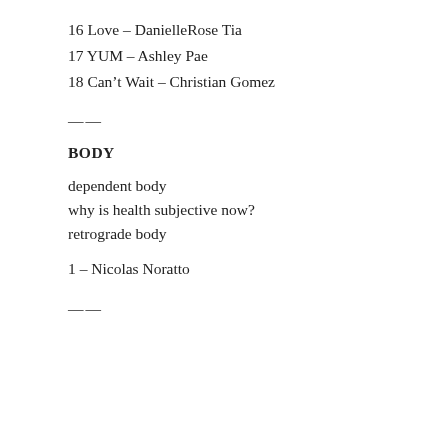16 Love – DanielleRose Tia
17 YUM – Ashley Pae
18 Can't Wait – Christian Gomez
——
BODY
dependent body
why is health subjective now?
retrograde body
1 – Nicolas Noratto
——